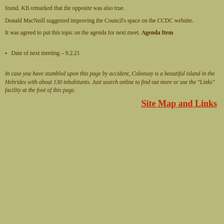found. KB remarked that the opposite was also true.
Donald MacNeill suggested improving the Council's space on the CCDC website.
It was agreed to put this topic on the agenda for next meet. Agenda Item
Date of next meeting – 9.2.21
In case you have stumbled upon this page by accident, Colonsay is a beautiful island in the Hebrides with about 130 inhabitants. Just search online to find out more or use the "Links" facility at the foot of this page.
Site Map and Links